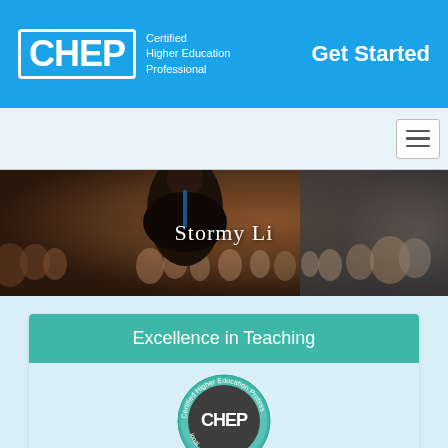CHEP Certified Higher Education Professional — Get Started
[Figure (logo): CHEP logo — white box with CHEP text and 'Certified Higher Education Professional' beside it, on blue background. Get Started button on right.]
[Figure (photo): Speaker seen from behind addressing a large audience in a conference hall. 'Stormy Li' text overlaid in center.]
Stormy Li
Excellence in Teaching
[Figure (logo): CHEP circular badge/seal in teal and dark gray with text 'Certified Higher Education Professional' around the edge and CHEP in the center.]